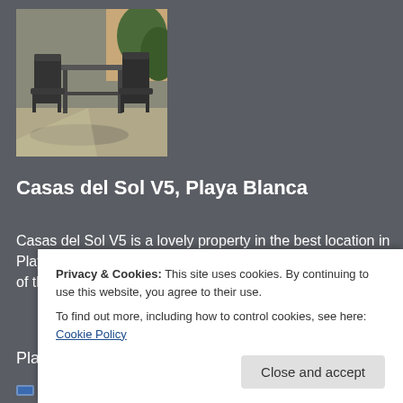[Figure (photo): Outdoor patio area with dark metal table and chairs, sunlight and foliage in background]
Casas del Sol V5, Playa Blanca
Casas del Sol V5 is a lovely property in the best location in Playa Blanca, close to the beaches, shops and restaurants of the resort.
Playa Blanca
2  1
Privacy & Cookies: This site uses cookies. By continuing to use this website, you agree to their use.
To find out more, including how to control cookies, see here: Cookie Policy
Close and accept